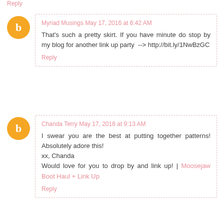Reply
Myriad Musings May 17, 2016 at 6:42 AM
That's such a pretty skirt. If you have minute do stop by my blog for another link up party --> http://bit.ly/1NwBzGC
Reply
Chanda Terry May 17, 2016 at 9:13 AM
I swear you are the best at putting together patterns! Absolutely adore this!
xx, Chanda
Would love for you to drop by and link up! | Moosejaw Boot Haul + Link Up
Reply